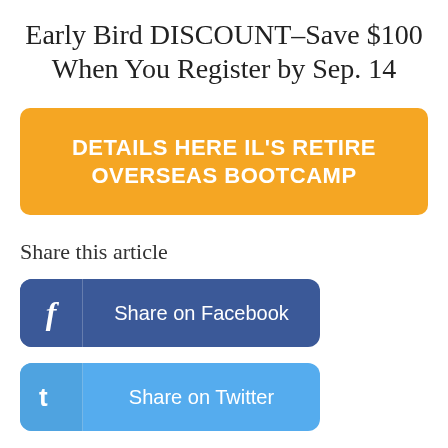Early Bird DISCOUNT–Save $100 When You Register by Sep. 14
[Figure (infographic): Yellow button with white bold text: DETAILS HERE IL'S RETIRE OVERSEAS BOOTCAMP]
Share this article
[Figure (infographic): Blue Facebook share button with f icon and text 'Share on Facebook']
[Figure (infographic): Light blue Twitter share button with t icon and text 'Share on Twitter']